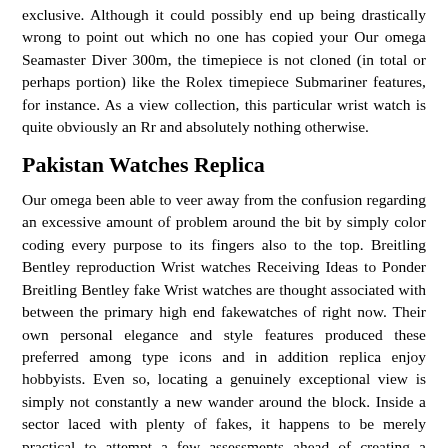exclusive. Although it could possibly end up being drastically wrong to point out which no one has copied your Our omega Seamaster Diver 300m, the timepiece is not cloned (in total or perhaps portion) like the Rolex timepiece Submariner features, for instance. As a view collection, this particular wrist watch is quite obviously an Rr and absolutely nothing otherwise.
Pakistan Watches Replica
Our omega been able to veer away from the confusion regarding an excessive amount of problem around the bit by simply color coding every purpose to its fingers also to the top. Breitling Bentley reproduction Wrist watches Receiving Ideas to Ponder Breitling Bentley fake Wrist watches are thought associated with between the primary high end fakewatches of right now. Their own personal elegance and style features produced these preferred among type icons and in addition replica enjoy hobbyists. Even so, locating a genuinely exceptional view is simply not constantly a new wander around the block. Inside a sector laced with plenty of fakes, it happens to be merely practical to attempt a few assessments ahead of creating a receive.
Replica Rolex Gmt Master Ii Review